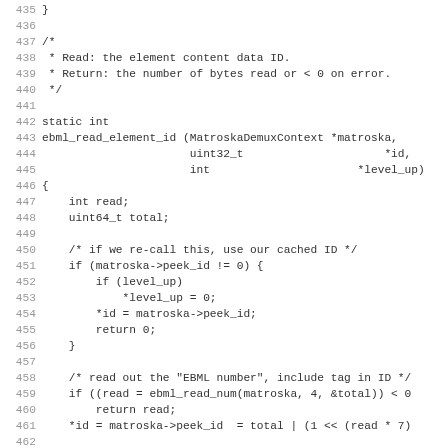Source code listing lines 435-467, C function ebml_read_element_id